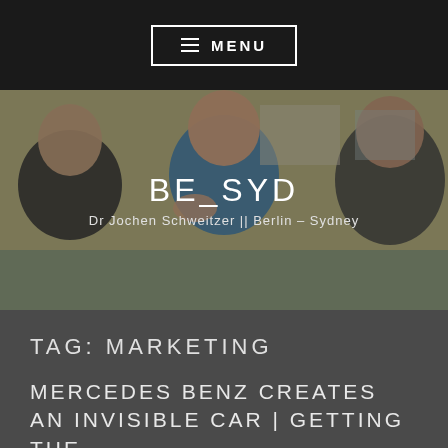≡  MENU
[Figure (photo): Photo of people in a workshop/meeting setting, with a bald man in a blue t-shirt gesturing and speaking, two other men visible on the sides.]
BE_SYD
Dr Jochen Schweitzer || Berlin – Sydney
TAG: MARKETING
MERCEDES BENZ CREATES AN INVISIBLE CAR | GETTING THE